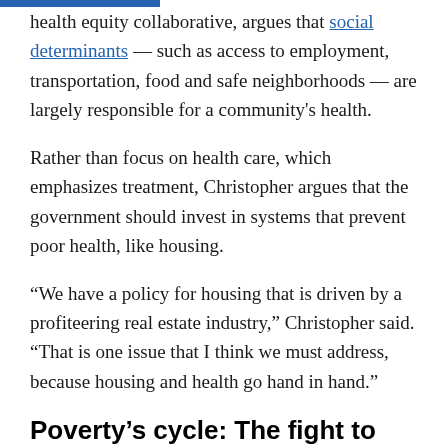health equity collaborative, argues that social determinants — such as access to employment, transportation, food and safe neighborhoods — are largely responsible for a community's health.
Rather than focus on health care, which emphasizes treatment, Christopher argues that the government should invest in systems that prevent poor health, like housing.
“We have a policy for housing that is driven by a profiteering real estate industry,” Christopher said. “That is one issue that I think we must address, because housing and health go hand in hand.”
Poverty’s cycle: The fight to ‘survive or thrive’